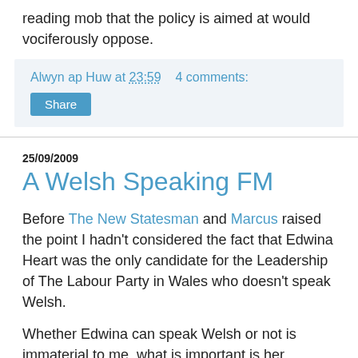reading mob that the policy is aimed at would vociferously oppose.
Alwyn ap Huw at 23:59    4 comments:
Share
25/09/2009
A Welsh Speaking FM
Before The New Statesman and Marcus raised the point I hadn't considered the fact that Edwina Heart was the only candidate for the Leadership of The Labour Party in Wales who doesn't speak Welsh.
Whether Edwina can speak Welsh or not is immaterial to me, what is important is her attitude towards the language, and in all honesty I can't find any evidence that she has ever been anything but supportive towards the language.